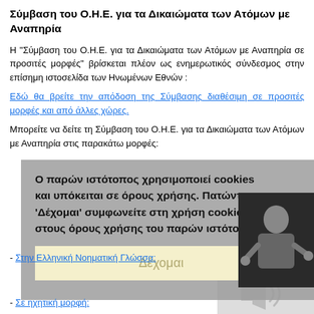Σύμβαση του Ο.Η.Ε. για τα Δικαιώματα των Ατόμων με Αναπηρία
Η "Σύμβαση του Ο.Η.Ε. για τα Δικαιώματα των Ατόμων με Αναπηρία σε προσιτές μορφές" βρίσκεται πλέον ως ενημερωτικός σύνδεσμος στην επίσημη ιστοσελίδα των Ηνωμένων Εθνών :
Εδώ θα βρείτε την απόδοση της Σύμβασης διαθέσιμη σε προσιτές μορφές και από άλλες χώρες.
Μπορείτε να δείτε τη Σύμβαση του Ο.Η.Ε. για τα Δικαιώματα των Ατόμων με Αναπηρία στις παρακάτω μορφές:
[Figure (screenshot): Cookie consent overlay with grey background and 'Δέχομαι' button, overlapping a sign language video thumbnail of a man signing]
- Στην Ελληνική Νοηματική Γλώσσα:
- Σε ηχητική μορφή: